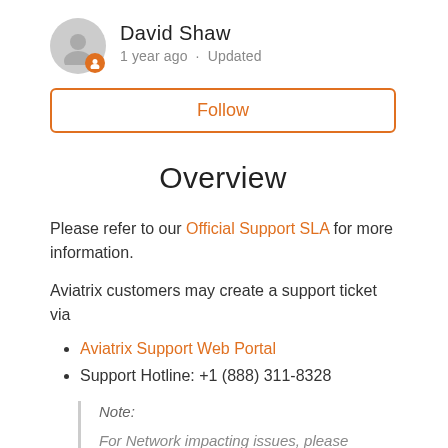[Figure (other): User avatar icon (grey circle with person silhouette) with orange admin badge, and author name David Shaw with metadata '1 year ago · Updated']
David Shaw
1 year ago · Updated
Follow
Overview
Please refer to our Official Support SLA for more information.
Aviatrix customers may create a support ticket via
Aviatrix Support Web Portal
Support Hotline: +1 (888) 311-8328
Note:
For Network impacting issues, please open a Priority1 ticket on Support